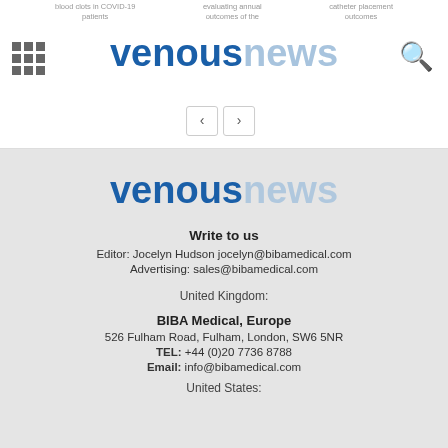venousnews
[Figure (logo): venousnews logo in header with navigation grid icon and search icon]
Write to us
Editor: Jocelyn Hudson jocelyn@bibamedical.com
Advertising: sales@bibamedical.com
United Kingdom:
BIBA Medical, Europe
526 Fulham Road, Fulham, London, SW6 5NR
TEL: +44 (0)20 7736 8788
Email: info@bibamedical.com
United States: